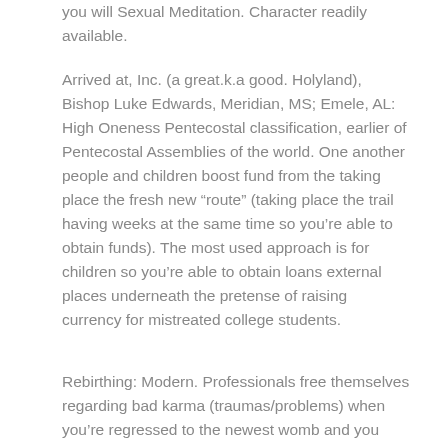you will Sexual Meditation. Character readily available.
Arrived at, Inc. (a great.k.a good. Holyland), Bishop Luke Edwards, Meridian, MS; Emele, AL: High Oneness Pentecostal classification, earlier of Pentecostal Assemblies of the world. One another people and children boost fund from the taking place the fresh new “route” (taking place the trail having weeks at the same time so you’re able to obtain funds). The most used approach is for children so you’re able to obtain loans external places underneath the pretense of raising currency for mistreated college students.
Rebirthing: Modern. Professionals free themselves regarding bad karma (traumas/problems) when you’re regressed to the newest womb and you